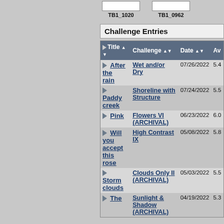TB1_1020    TB1_0962
Challenge Entries
| Title | Challenge | Date | Av |
| --- | --- | --- | --- |
| After the rain | Wet and/or Dry | 07/26/2022 | 5.4 |
| Paddy creek | Shoreline with Structure | 07/24/2022 | 5.5 |
| Pink | Flowers VI (ARCHIVAL) | 06/23/2022 | 6.0 |
| Will you accept this rose | High Contrast IX | 05/08/2022 | 5.8 |
| Storm clouds | Clouds Only II (ARCHIVAL) | 05/03/2022 | 5.5 |
| The | Sunlight & Shadow (ARCHIVAL) | 04/19/2022 | 5.3 |